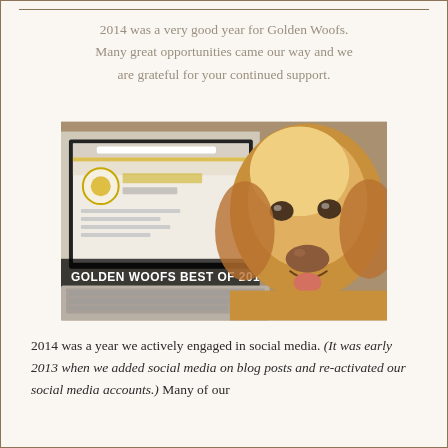2014 was a very good year for Golden Woofs. Many great opportunities came our way and we are grateful for your continued support.
[Figure (photo): A golden retriever dog sits beside a laptop displaying the Golden Woofs blog website. Text overlay reads: 'Golden Woofs Best of 2014 and Plans for 2015']
2014 was a year we actively engaged in social media. (It was early 2013 when we added social media on blog posts and re-activated our social media accounts.) Many of our